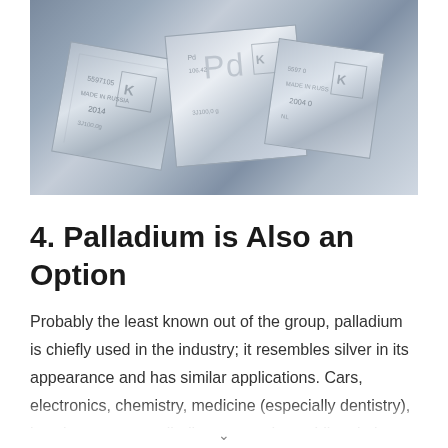[Figure (photo): Photo of several palladium bars/ingots with the Pd element symbol visible, stamped with markings including dates (2014) and weights, arranged on a dark blue surface]
4. Palladium is Also an Option
Probably the least known out of the group, palladium is chiefly used in the industry; it resembles silver in its appearance and has similar applications. Cars, electronics, chemistry, medicine (especially dentistry), jewelry, etc., put palladium to good use. Like platinum, it is quite rare: the mines